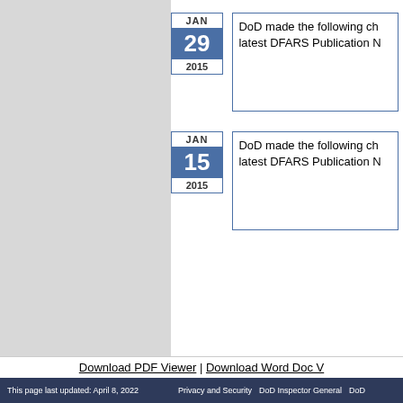JAN 29 2015 — DoD made the following ch latest DFARS Publication N
JAN 15 2015 — DoD made the following ch latest DFARS Publication N
Download PDF Viewer | Download Word Doc V
This page last updated: April 8, 2022   Privacy and Security   DoD Inspector General   DoD